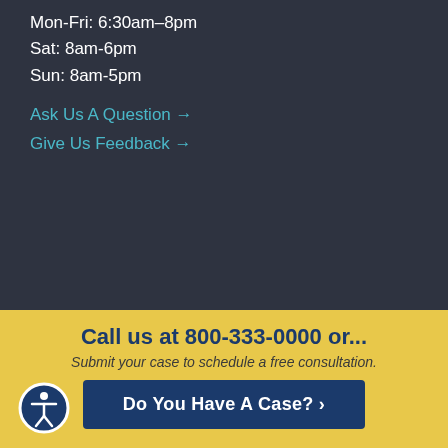Mon-Fri: 6:30am–8pm
Sat: 8am-6pm
Sun: 8am-5pm
Ask Us A Question →
Give Us Feedback →
Call us at 800-333-0000 or...
Submit your case to schedule a free consultation.
Do You Have A Case? ›